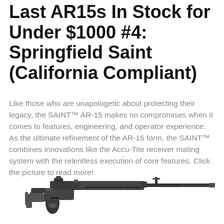Last AR15s In Stock for Under $1000 #4: Springfield Saint (California Compliant)
Like those who are unapologetic about protecting their legacy, the SAINT™ AR-15 makes no compromises when it comes to features, engineering, and operator experience. As the ultimate refinement of the AR-15 form, the SAINT™ combines innovations like the Accu-Tite receiver mating system with the relentless execution of core features. Click the picture to read more!
[Figure (illustration): Side profile illustration of a Springfield SAINT AR-15 rifle in black and white/grayscale]